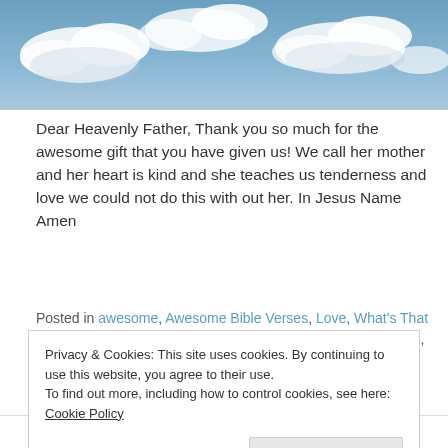[Figure (photo): Blue sky with white clouds — hero/banner image at top of page]
Dear Heavenly Father, Thank you so much for the awesome gift that you have given us! We call her mother and her heart is kind and she teaches us tenderness and love we could not do this with out her. In Jesus Name Amen
Posted in awesome, Awesome Bible Verses, Love, What's That Tagged awesome, bible verse, bible verses, Blessed, blessing, Christ Jesus, christian, definition, depression, Devil, direction, disipline, explanation, forgiveness, gift, good news, guide, Happy Mothers
Privacy & Cookies: This site uses cookies. By continuing to use this website, you agree to their use.
To find out more, including how to control cookies, see here: Cookie Policy
Close and accept
Search for more on our site......